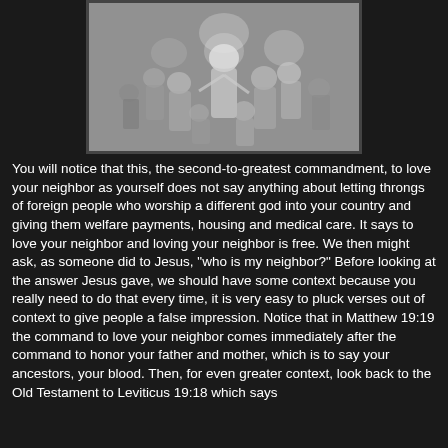[Figure (illustration): A black and white engraving depicting a biblical or religious scene with multiple robed figures gathered together, appearing to show Jesus among a group of people.]
You will notice that this, the second-to-greatest commandment, to love your neighbor as yourself does not say anything about letting throngs of foreign people who worship a different god into your country and giving them welfare payments, housing and medical care. It says to love your neighbor and loving your neighbor is free. We then might ask, as someone did to Jesus, "who is my neighbor?" Before looking at the answer Jesus gave, we should have some context because you really need to do that every time, it is very easy to pluck verses out of context to give people a false impression. Notice that in Matthew 19:19 the command to love your neighbor comes immediately after the command to honor your father and mother, which is to say your ancestors, your blood. Then, for even greater context, look back to the Old Testament to Leviticus 19:18 which says